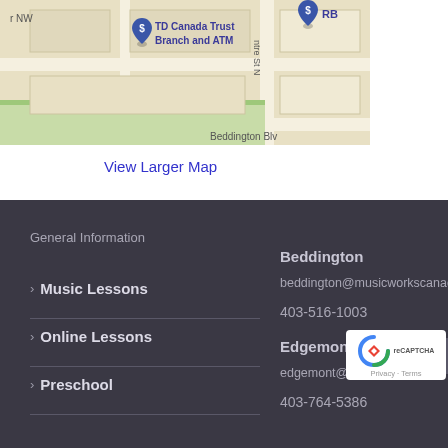[Figure (map): Google Maps screenshot showing TD Canada Trust Branch and ATM location with blue pin markers, streets labeled including Beddington Blv, and surrounding area in beige/cream colors]
View Larger Map
General Information
Music Lessons
Online Lessons
Preschool
Beddington
beddington@musicworkscanada
403-516-1003
Edgemont
edgemont@musicw...
403-764-5386